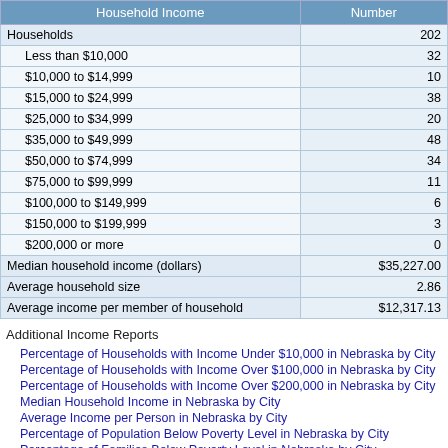| Household Income | Number |
| --- | --- |
| Households | 202 |
| Less than $10,000 | 32 |
| $10,000 to $14,999 | 10 |
| $15,000 to $24,999 | 38 |
| $25,000 to $34,999 | 20 |
| $35,000 to $49,999 | 48 |
| $50,000 to $74,999 | 34 |
| $75,000 to $99,999 | 11 |
| $100,000 to $149,999 | 6 |
| $150,000 to $199,999 | 3 |
| $200,000 or more | 0 |
| Median household income (dollars) | $35,227.00 |
| Average household size | 2.86 |
| Average income per member of household | $12,317.13 |
Additional Income Reports
Percentage of Households with Income Under $10,000 in Nebraska by City
Percentage of Households with Income Over $100,000 in Nebraska by City
Percentage of Households with Income Over $200,000 in Nebraska by City
Median Household Income in Nebraska by City
Average Income per Person in Nebraska by City
Percentage of Population Below Poverty Level in Nebraska by City
Percentage of Families Below Poverty Level in Nebraska by City
Download Data
Madrid Commute